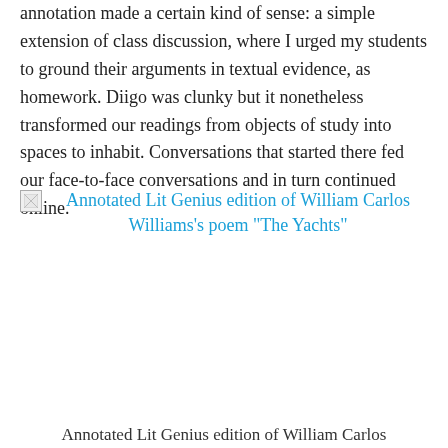annotation made a certain kind of sense: a simple extension of class discussion, where I urged my students to ground their arguments in textual evidence, as homework. Diigo was clunky but it nonetheless transformed our readings from objects of study into spaces to inhabit. Conversations that started there fed our face-to-face conversations and in turn continued online.
[Figure (other): Broken image placeholder with alt text linking to annotated Lit Genius edition of William Carlos Williams's poem 'The Yachts']
Annotated Lit Genius edition of William Carlos